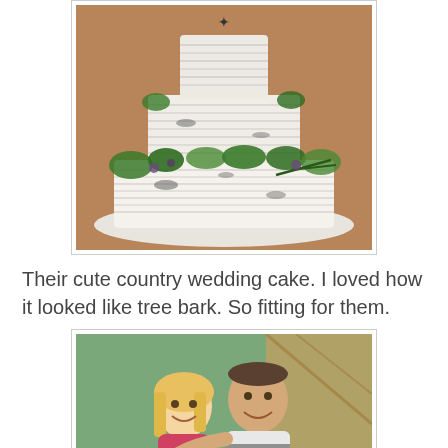[Figure (photo): A tiered wedding cake decorated with white frosting textured to look like birch tree bark, adorned with green leaves, pine branches, and small purple/grey berries or flowers, sitting on a white plate.]
Their cute country wedding cake. I loved how it looked like tree bark. So fitting for them.
[Figure (photo): A smiling blonde woman and a taller man in a striped polo shirt posing together indoors. In the background is a green wall, a sign partially reading 'ESTROOMS', and a decorative mural with wooden architectural elements.]